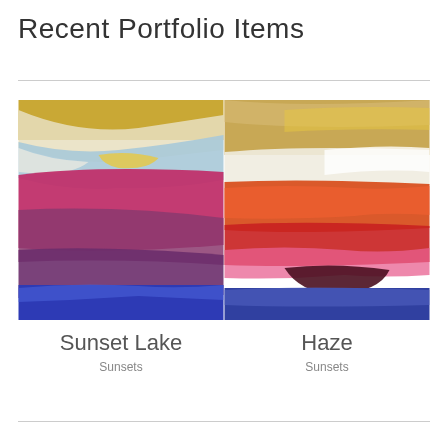Recent Portfolio Items
[Figure (illustration): Two abstract sunset paintings side by side. Left painting 'Sunset Lake' shows sweeping brushstrokes in gold, white, blue, magenta/pink, purple, and cobalt blue. Right painting 'Haze' shows brushstrokes in gold/tan, white, orange, red, pink, dark maroon, and blue.]
Sunset Lake
Sunsets
Haze
Sunsets